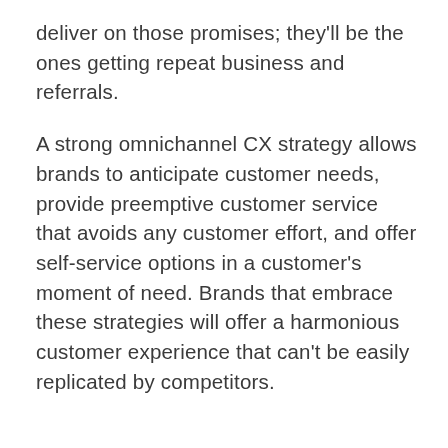deliver on those promises; they'll be the ones getting repeat business and referrals.
A strong omnichannel CX strategy allows brands to anticipate customer needs, provide preemptive customer service that avoids any customer effort, and offer self-service options in a customer's moment of need. Brands that embrace these strategies will offer a harmonious customer experience that can't be easily replicated by competitors.